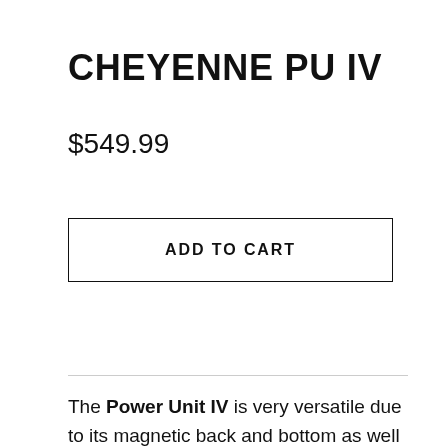CHEYENNE PU IV
$549.99
ADD TO CART
The Power Unit IV is very versatile due to its magnetic back and bottom as well as its clip-on stand. Whether ordinary table